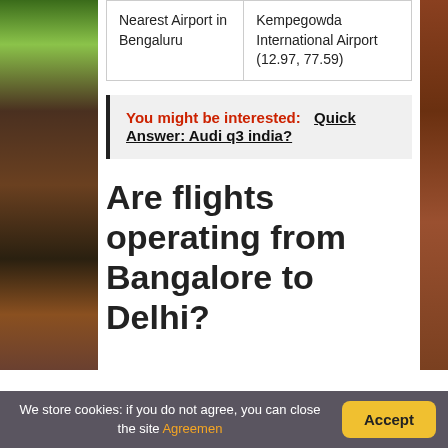| Nearest Airport in Bengaluru | Kempegowda International Airport (12.97, 77.59) |
You might be interested:  Quick Answer: Audi q3 india?
Are flights operating from Bangalore to Delhi?
We store cookies: if you do not agree, you can close the site Agreemen